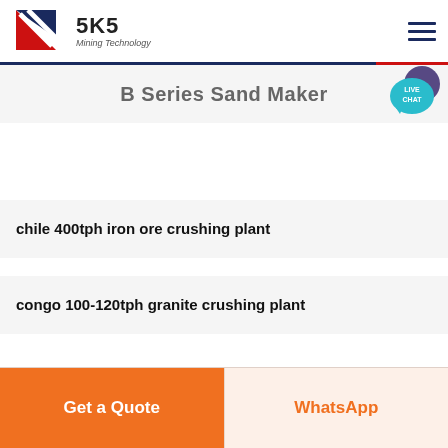SKS Mining Technology
B Series Sand Maker
chile 400tph iron ore crushing plant
congo 100-120tph granite crushing plant
Get a Quote | WhatsApp